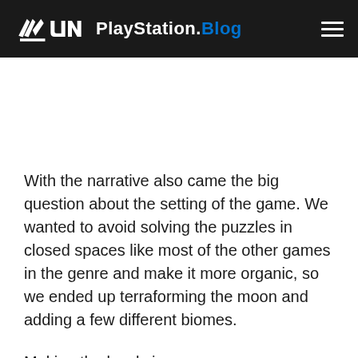PlayStation.Blog
With the narrative also came the big question about the setting of the game. We wanted to avoid solving the puzzles in closed spaces like most of the other games in the genre and make it more organic, so we ended up terraforming the moon and adding a few different biomes.
Making the levels in a more open environment came with its problems, like adjusting the game design and